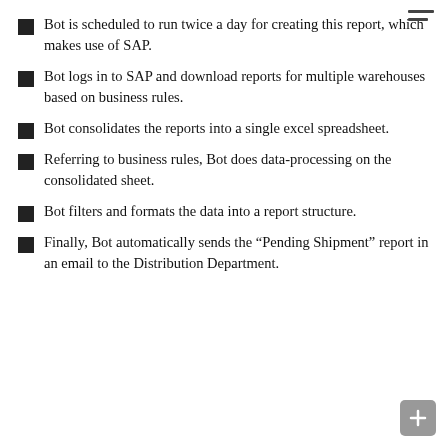Bot is scheduled to run twice a day for creating this report, which makes use of SAP.
Bot logs in to SAP and download reports for multiple warehouses based on business rules.
Bot consolidates the reports into a single excel spreadsheet.
Referring to business rules, Bot does data-processing on the consolidated sheet.
Bot filters and formats the data into a report structure.
Finally, Bot automatically sends the “Pending Shipment” report in an email to the Distribution Department.